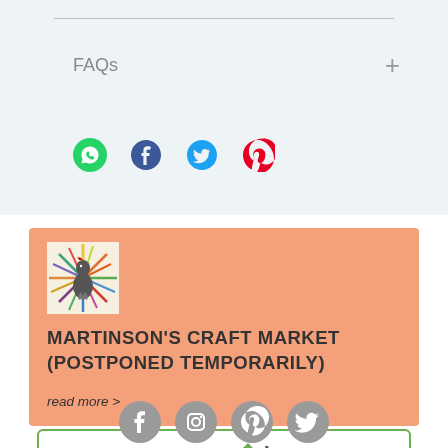FAQs +
[Figure (infographic): Social media share icons: WhatsApp (green), Facebook (dark blue), Twitter (blue), Pinterest (red)]
[Figure (illustration): Martinson's Craft Market logo: colorful rooster with radiating sunburst pattern]
MARTINSON'S CRAFT MARKET (POSTPONED TEMPORARILY)
read more >
[Figure (logo): Featured on Houzz badge with green text and Houzz logo]
[Figure (infographic): Footer social media icons: Facebook, Instagram, Pinterest, Twitter - all in gray]